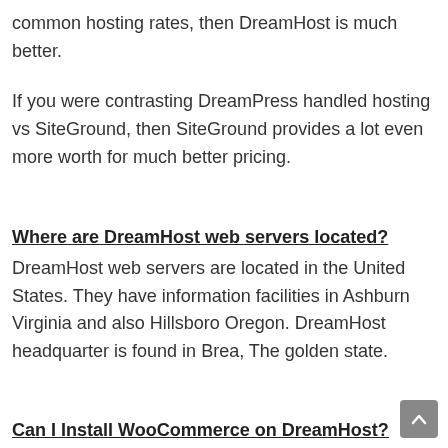common hosting rates, then DreamHost is much better.
If you were contrasting DreamPress handled hosting vs SiteGround, then SiteGround provides a lot even more worth for much better pricing.
Where are DreamHost web servers located?
DreamHost web servers are located in the United States. They have information facilities in Ashburn Virginia and also Hillsboro Oregon. DreamHost headquarter is found in Brea, The golden state.
Can I Install WooCommerce on DreamHost?
Yes, you can conveniently install WooCommerce on